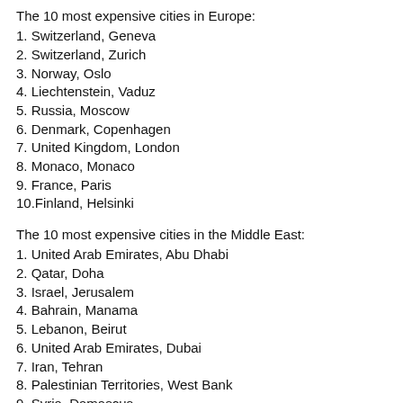The 10 most expensive cities in Europe:
1. Switzerland, Geneva
2. Switzerland, Zurich
3. Norway, Oslo
4. Liechtenstein, Vaduz
5. Russia, Moscow
6. Denmark, Copenhagen
7. United Kingdom, London
8. Monaco, Monaco
9. France, Paris
10.Finland, Helsinki
The 10 most expensive cities in the Middle East:
1. United Arab Emirates, Abu Dhabi
2. Qatar, Doha
3. Israel, Jerusalem
4. Bahrain, Manama
5. Lebanon, Beirut
6. United Arab Emirates, Dubai
7. Iran, Tehran
8. Palestinian Territories, West Bank
9. Syria, Damascus
10.Saudi Arabia, Riyadh